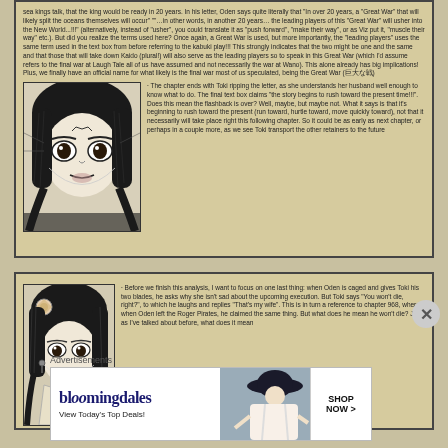sea kings talk, that the king would be ready in 20 years. In his letter, Oden says quite literally that "In over 20 years, a "Great War" that will likely split the oceans themselves will occur" ""…in other words, in another 20 years… the leading players of this "Great War" will usher into the New World...!!!" (alternatively, instead of "usher", you could translate it as "push forward", "make their way", or as Viz put it, "muscle their way" etc.). But did you realize the terms used here? Once again, a Great War is used, but more importantly, the "leading players" uses the same term used in the text box from before referring to the kabuki play!!! This strongly indicates that the two might be one and the same and that those that will take down Kaido (plural!) will also serve as the leading players so to speak in this Great War (which I'd assume refers to the final war at Laugh Tale all of us have assumed and not necessarily the war at Wano). This alone already has big implications! Plus, we finally have an official name for what likely is the final war most of us speculated, being the Great War (巨大な戦)
[Figure (illustration): Black and white manga panel showing a close-up of a female character's face with dramatic expression, wide eyes, and flowing hair]
· The chapter ends with Toki ripping the letter, as she understands her husband well enough to know what to do. The final text box claims "the story begins to rush toward the present time!!!". Does this mean the flashback is over? Well, maybe, but maybe not. What it says is that it's beginning to rush toward the present (run toward, hurtle toward, move quickly toward), not that it necessarily will take place right this following chapter. So it could be as early as next chapter, or perhaps in a couple more, as we see Toki transport the other retainers to the future
[Figure (illustration): Black and white manga panel showing a female character with a flower ornament in her hair, looking to the side with a calm expression]
· Before we finish this analysis, I want to focus on one last thing: when Oden is caged and gives Toki his two blades, he asks why she isn't sad about the upcoming execution. But Toki says "You won't die, right?", to which he laughs and replies "That's my wife". This is in turn a reference to chapter 968, where when Oden left the Roger Pirates, he claimed the same thing. But what does he mean he won't die? Just as I've talked about before, what does it mean
Advertisements